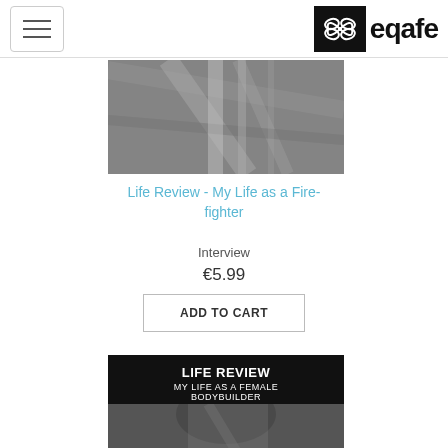[Figure (logo): Eqafe logo with bow/ribbon icon on black background and 'eqafe' text]
[Figure (photo): Black and white photo of a firefighter's jacket/gear close-up]
Life Review - My Life as a Fire-fighter
Interview
€5.99
ADD TO CART
[Figure (photo): Book cover: LIFE REVIEW - MY LIFE AS A FEMALE BODYBUILDER with person's face in black and white]